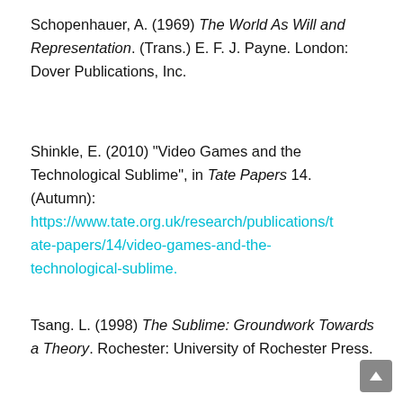Schopenhauer, A. (1969) The World As Will and Representation. (Trans.) E. F. J. Payne. London: Dover Publications, Inc.
Shinkle, E. (2010) "Video Games and the Technological Sublime", in Tate Papers 14. (Autumn): https://www.tate.org.uk/research/publications/tate-papers/14/video-games-and-the-technological-sublime.
Tsang. L. (1998) The Sublime: Groundwork Towards a Theory. Rochester: University of Rochester Press.
Vincent, J. (2019) "Former Go Champion Beaten by...